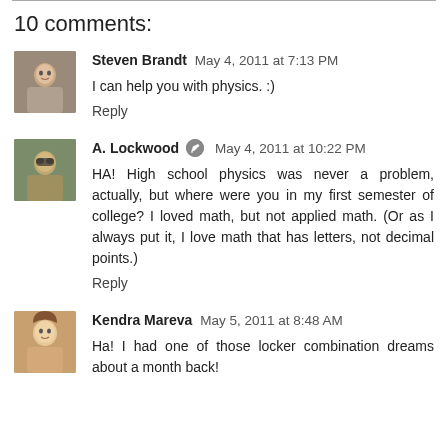10 comments:
Steven Brandt May 4, 2011 at 7:13 PM
I can help you with physics. :)
Reply
A. Lockwood May 4, 2011 at 10:22 PM
HA! High school physics was never a problem, actually, but where were you in my first semester of college? I loved math, but not applied math. (Or as I always put it, I love math that has letters, not decimal points.)
Reply
Kendra Mareva May 5, 2011 at 8:48 AM
Ha! I had one of those locker combination dreams about a month back!